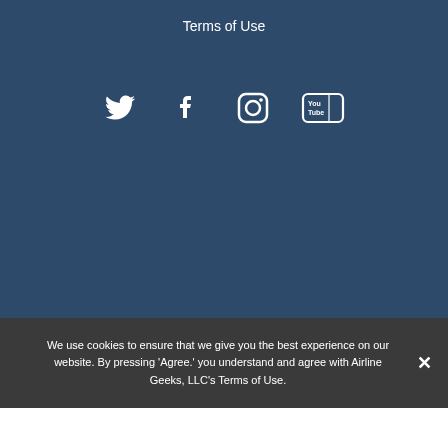Terms of Use
[Figure (other): Social media icons: Twitter bird, Facebook f, Instagram camera, YouTube play button]
We use cookies to ensure that we give you the best experience on our website. By pressing ‘Agree.’ you understand and agree with Airline Geeks, LLC’s Terms of Use.